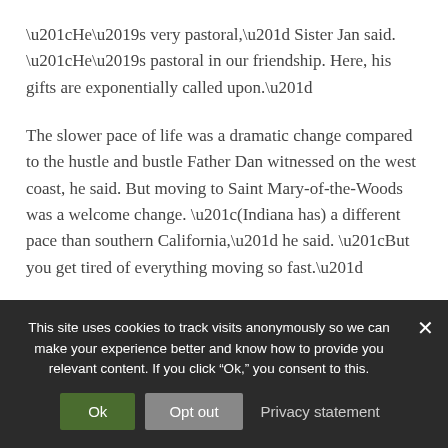“He’s very pastoral,” Sister Jan said. “He’s pastoral in our friendship. Here, his gifts are exponentially called upon.”
The slower pace of life was a dramatic change compared to the hustle and bustle Father Dan witnessed on the west coast, he said. But moving to Saint Mary-of-the-Woods was a welcome change. “(Indiana has) a different pace than southern California,” he said. “But you get tired of everything moving so fast.”
Regardless, Father Dan said he believes he found his
This site uses cookies to track visits anonymously so we can make your experience better and know how to provide you relevant content. If you click “Ok,” you consent to this.
Ok
Opt out
Privacy statement